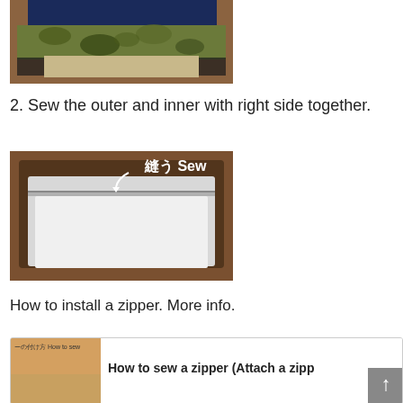[Figure (photo): Photo of navy blue and camouflage fabric pieces laid on a wooden table]
2. Sew the outer and inner with right side together.
[Figure (photo): Photo showing white fabric pieces with Japanese text '縫う Sew' and an arrow indicating the sewing line, on a wooden table]
How to install a zipper. More info.
[Figure (screenshot): Screenshot of a linked article showing a thumbnail and title 'How to sew a zipper (Attach a zipp' with a scroll-up button]